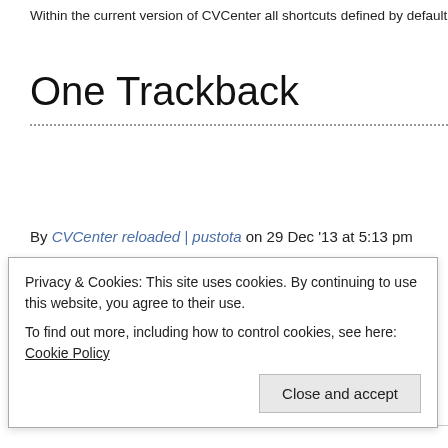Within the current version of CVCenter all shortcuts defined by default may be edi
One Trackback
By CVCenter reloaded | pustota on 29 Dec '13 at 5:13 pm
Post a Comment
Privacy & Cookies: This site uses cookies. By continuing to use this website, you agree to their use.
To find out more, including how to control cookies, see here: Cookie Policy
Close and accept